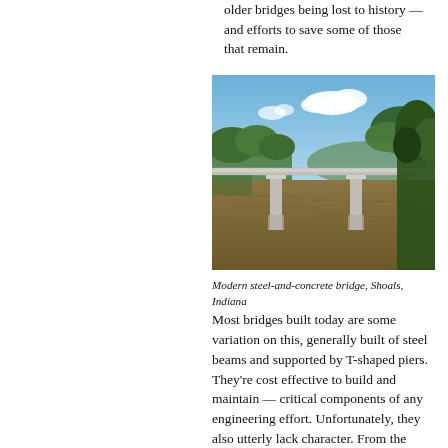older bridges being lost to history — and efforts to save some of those that remain.
[Figure (photo): A modern steel-and-concrete bridge with T-shaped piers spanning a wide muddy river, surrounded by green trees under a blue sky with white clouds. Location: Shoals, Indiana.]
Modern steel-and-concrete bridge, Shoals, Indiana
Most bridges built today are some variation on this, generally built of steel beams and supported by T-shaped piers. They're cost effective to build and maintain — critical components of any engineering effort. Unfortunately, they also utterly lack character. From the side, they look as utilitarian as a kitchen appliance. Driving over them, except for